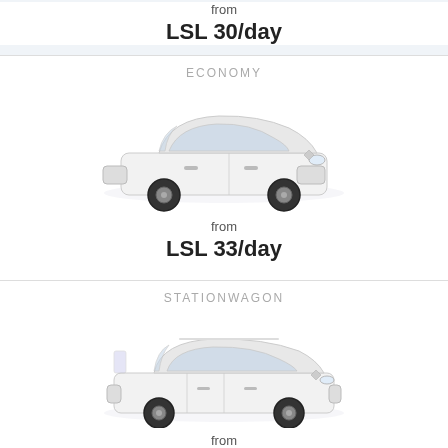from
LSL 30/day
ECONOMY
[Figure (photo): White compact car (Renault Clio style) viewed from front-left angle]
from
LSL 33/day
STATIONWAGON
[Figure (photo): White station wagon car (Renault Clio estate style) viewed from front-left angle]
from
LSL 39/day
COMPACT